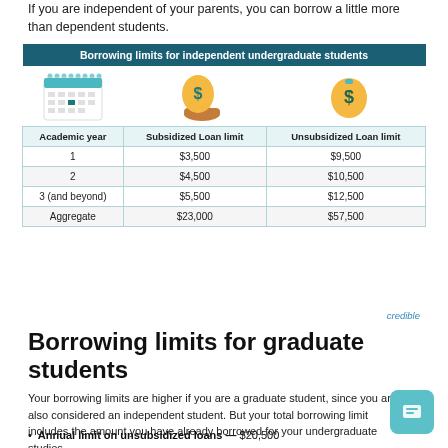If you are independent of your parents, you can borrow a little more than dependent students.
[Figure (table-as-image): Infographic table showing borrowing limits for independent undergraduate students with icons of a calendar and money bags, listing Academic year, Subsidized Loan limit, and Unsubsidized Loan limit for years 1, 2, 3 (and beyond), and Aggregate.]
| Academic year | Subsidized Loan limit | Unsubsidized Loan limit |
| --- | --- | --- |
| 1 | $3,500 | $9,500 |
| 2 | $4,500 | $10,500 |
| 3 (and beyond) | $5,500 | $12,500 |
| Aggregate | $23,000 | $57,500 |
credible
Borrowing limits for graduate students
Your borrowing limits are higher if you are a graduate student, since you are also considered an independent student. But your total borrowing limit includes the amount you have already borrowed for your undergraduate studies.
Annual limit on unsubsidized loans — $20,500